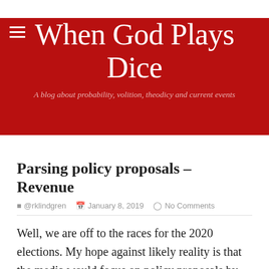When God Plays Dice
A blog about probability, volition, theodicy and current events
Parsing policy proposals – Revenue
@rklindgren  January 8, 2019  No Comments
Well, we are off to the races for the 2020 elections. My hope against likely reality is that the media would focus on policy proposals by the candidates rather than personality, but so far the new year is starting on the